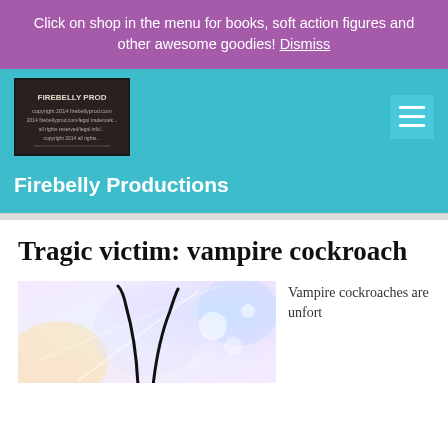Click on shop in the menu for books, soft action figures and other awesome goodies! Dismiss
[Figure (screenshot): Firebelly Productions website header with logo image and hamburger menu icon on teal background]
Firebelly Productions
Tragic victim: vampire cockroach
[Figure (illustration): Colorful abstract illustration with bokeh light effects and a dark antenna-like shape silhouette]
Vampire cockroaches are unfort